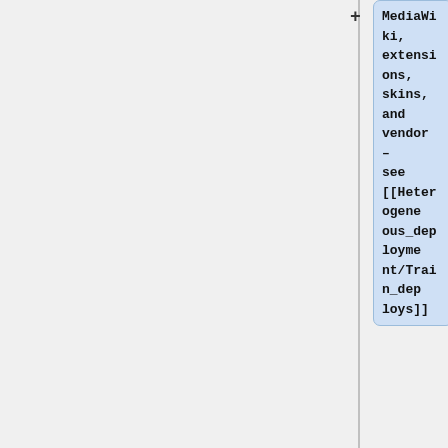MediaWiki, extensions, skins, and vendor – see [[Heterogeneous_deployment/Train_deploys]]
|who=N/A
|what=Branch
<code>wmf/1.39.0-wmf.12</code>
}}
{{Deployment